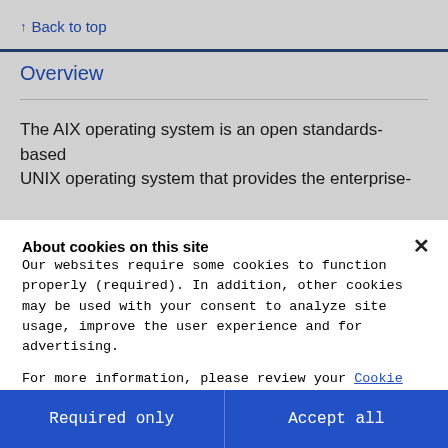↑ Back to top
Overview
The AIX operating system is an open standards-based UNIX operating system that provides the enterprise-
About cookies on this site
Our websites require some cookies to function properly (required). In addition, other cookies may be used with your consent to analyze site usage, improve the user experience and for advertising.

For more information, please review your Cookie preferences options and IBM's privacy statement.
Required only
Accept all